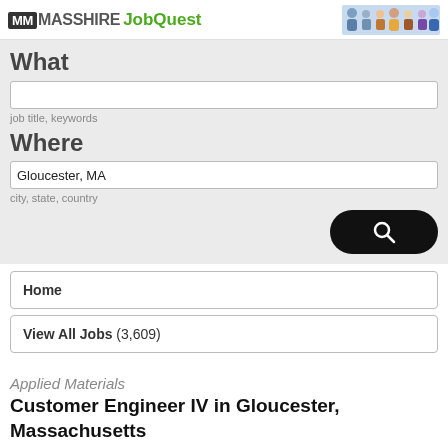MassHire JobQuest
What
job title, keywords
Where
Gloucester, MA
city, state, country
Home
View All Jobs (3,609)
Applied Materials
Customer Engineer IV in Gloucester, Massachusetts